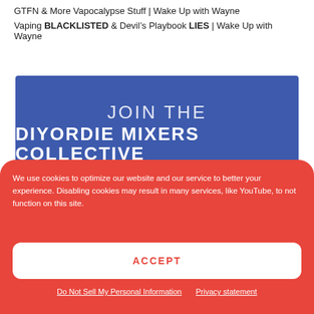GTFN & More Vapocalypse Stuff | Wake Up with Wayne
Vaping BLACKLISTED & Devil’s Playbook LIES | Wake Up with Wayne
[Figure (infographic): Blue banner reading JOIN THE DIYORDIE MIXERS COLLECTIVE CLICK HERE]
We use cookies to optimize our website and our service to better your experience. Disabling cookies may result in many services, like YouTube, to not function on this site.
ACCEPT
Do Not Sell My Personal Information  Privacy statement